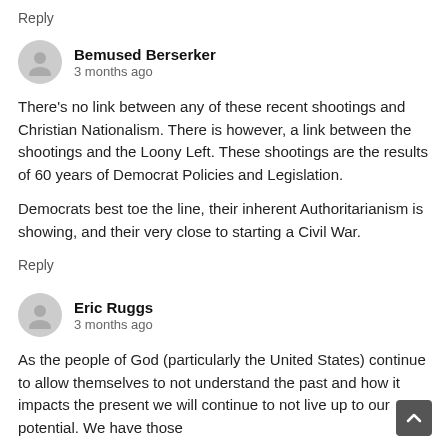Reply
Bemused Berserker
3 months ago
There's no link between any of these recent shootings and Christian Nationalism. There is however, a link between the shootings and the Loony Left. These shootings are the results of 60 years of Democrat Policies and Legislation.

Democrats best toe the line, their inherent Authoritarianism is showing, and their very close to starting a Civil War.
Reply
Eric Ruggs
3 months ago
As the people of God (particularly the United States) continue to allow themselves to not understand the past and how it impacts the present we will continue to not live up to our potential. We have those